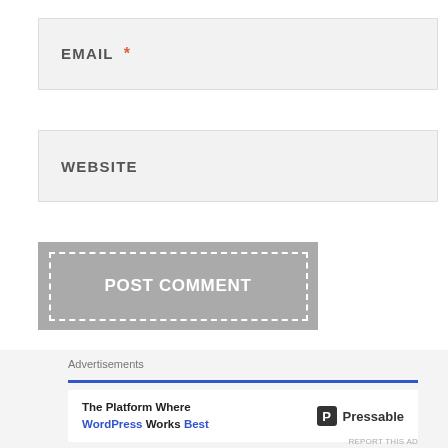EMAIL *
WEBSITE
POST COMMENT
Notify me of new comments via email.
[Figure (screenshot): Advertisement banner: 'The Platform Where WordPress Works Best' with Pressable logo]
Advertisements